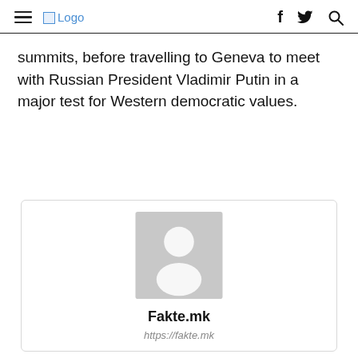Logo | f twitter search
summits, before travelling to Geneva to meet with Russian President Vladimir Putin in a major test for Western democratic values.
[Figure (illustration): Author card with a generic placeholder avatar (grey silhouette), bold name 'Fakte.mk', and italic URL 'https://fakte.mk']